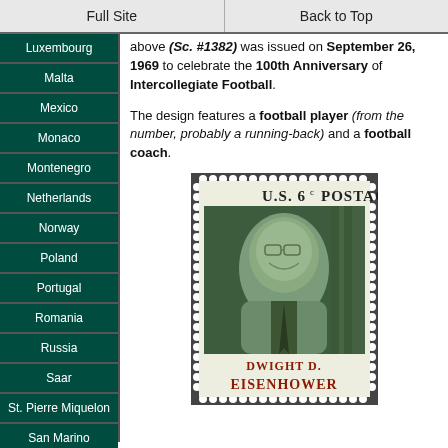Full Site | Back to Top
Luxembourg
Malta
Mexico
Monaco
Montenegro
Netherlands
Norway
Poland
Portugal
Romania
Russia
Saar
St. Pierre Miquelon
San Marino
Serbia
above (Sc. #1382) was issued on September 26, 1969 to celebrate the 100th Anniversary of Intercollegiate Football.
The design features a football player (from the number, probably a running-back) and a football coach.
[Figure (photo): U.S. 6 cent postage stamp featuring Dwight D. Eisenhower portrait in green tones with his name at the bottom in red text.]